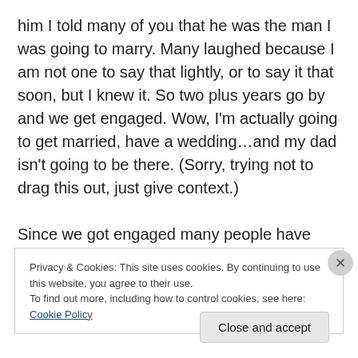him I told many of you that he was the man I was going to marry. Many laughed because I am not one to say that lightly, or to say it that soon, but I knew it. So two plus years go by and we get engaged. Wow, I'm actually going to get married, have a wedding…and my dad isn't going to be there. (Sorry, trying not to drag this out, just give context.)

Since we got engaged many people have asked if my mom is going to walk me down the aisle and give me away. Many have asked if my brother is going to. Many
Privacy & Cookies: This site uses cookies. By continuing to use this website, you agree to their use.
To find out more, including how to control cookies, see here: Cookie Policy
Close and accept